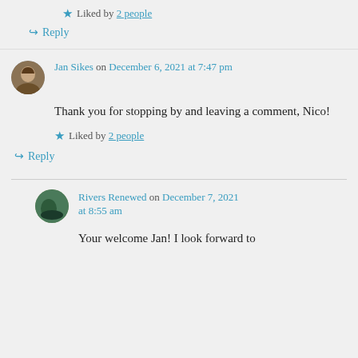★ Liked by 2 people
↪ Reply
Jan Sikes on December 6, 2021 at 7:47 pm
Thank you for stopping by and leaving a comment, Nico!
★ Liked by 2 people
↪ Reply
Rivers Renewed on December 7, 2021 at 8:55 am
Your welcome Jan! I look forward to